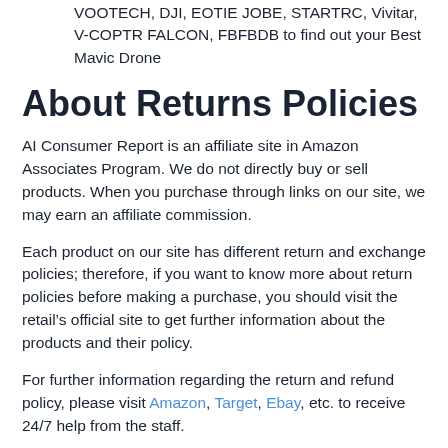VOOTECH, DJI, EOTIE JOBE, STARTRC, Vivitar, V-COPTR FALCON, FBFBDB to find out your Best Mavic Drone
About Returns Policies
AI Consumer Report is an affiliate site in Amazon Associates Program. We do not directly buy or sell products. When you purchase through links on our site, we may earn an affiliate commission.
Each product on our site has different return and exchange policies; therefore, if you want to know more about return policies before making a purchase, you should visit the retail’s official site to get further information about the products and their policy.
For further information regarding the return and refund policy, please visit Amazon, Target, Ebay, etc. to receive 24/7 help from the staff.